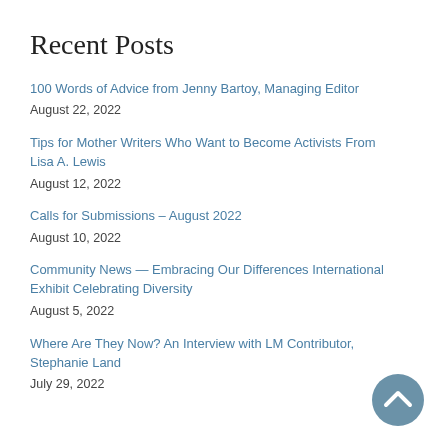Recent Posts
100 Words of Advice from Jenny Bartoy, Managing Editor
August 22, 2022
Tips for Mother Writers Who Want to Become Activists From Lisa A. Lewis
August 12, 2022
Calls for Submissions – August 2022
August 10, 2022
Community News — Embracing Our Differences International Exhibit Celebrating Diversity
August 5, 2022
Where Are They Now? An Interview with LM Contributor, Stephanie Land
July 29, 2022
[Figure (illustration): Scroll-to-top button: a steel-blue circle with a white upward chevron arrow]